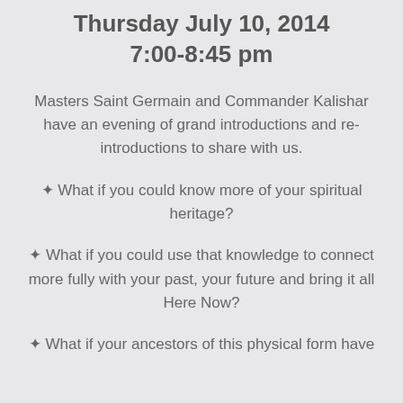Thursday July 10, 2014
7:00-8:45 pm
Masters Saint Germain and Commander Kalishar have an evening of grand introductions and re-introductions to share with us.
✦ What if you could know more of your spiritual heritage?
✦ What if you could use that knowledge to connect more fully with your past, your future and bring it all Here Now?
✦ What if your ancestors of this physical form have